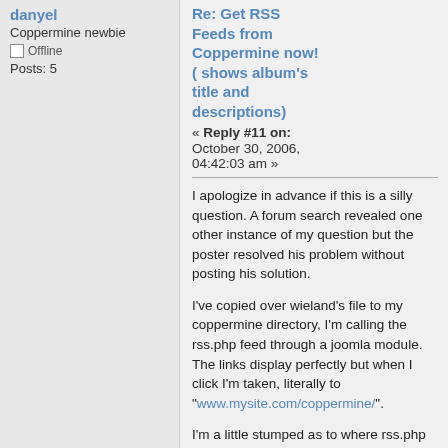danyel
Coppermine newbie
Offline
Posts: 5
Re: Get RSS Feeds from Coppermine now! ( shows album's title and descriptions)
« Reply #11 on: October 30, 2006, 04:42:03 am »
I apologize in advance if this is a silly question. A forum search revealed one other instance of my question but the poster resolved his problem without posting his solution.
I've copied over wieland's file to my coppermine directory, I'm calling the rss.php feed through a joomla module.  The links display perfectly but when I click I'm taken, literally to "www.mysite.com/coppermine/".
I'm a little stumped as to where rss.php is pulling "www.mysite.com" from as the base url for my coppermine gallery.  A nudge in the right direction would be appreciated.